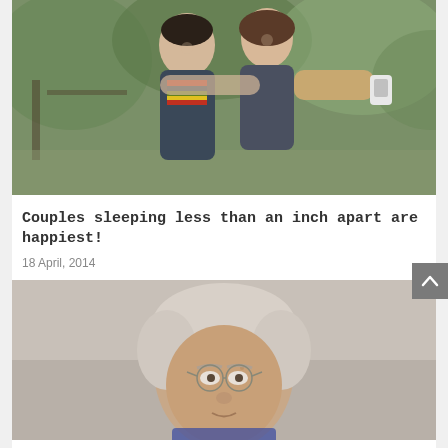[Figure (photo): A happy couple hugging and smiling outdoors. The man wears a colorful striped scarf and dark sweater; the woman wears a tan/beige sweater. They appear to be in a park or garden setting with green foliage in the background.]
Couples sleeping less than an inch apart are happiest!
18 April, 2014
[Figure (photo): An elderly man with white/grey hair, wearing round wire-rimmed glasses, photographed against a neutral background.]